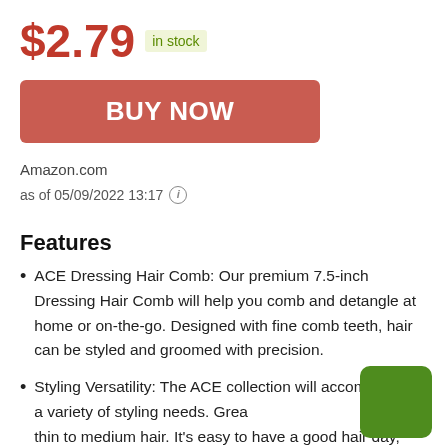$2.79 in stock
[Figure (other): BUY NOW button in red/salmon color]
Amazon.com
as of 05/09/2022 13:17 (i)
Features
ACE Dressing Hair Comb: Our premium 7.5-inch Dressing Hair Comb will help you comb and detangle at home or on-the-go. Designed with fine comb teeth, hair can be styled and groomed with precision.
Styling Versatility: The ACE collection will accommodate a variety of styling needs. Great thin to medium hair. It's easy to have a good hair day,